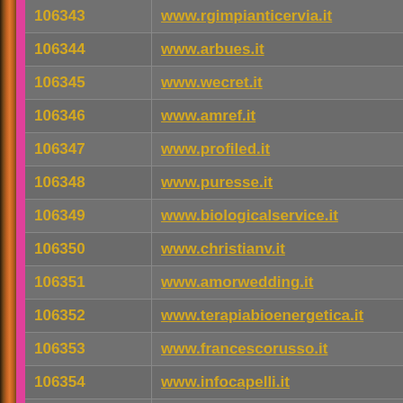| ID | URL |
| --- | --- |
| 106343 | www.rgimpianticervia.it |
| 106344 | www.arbues.it |
| 106345 | www.wecret.it |
| 106346 | www.amref.it |
| 106347 | www.profiled.it |
| 106348 | www.puresse.it |
| 106349 | www.biologicalservice.it |
| 106350 | www.christianv.it |
| 106351 | www.amorwedding.it |
| 106352 | www.terapiabioenergetica.it |
| 106353 | www.francescorusso.it |
| 106354 | www.infocapelli.it |
| 106355 | www.opensrl.it |
| 106356 | www.immortal.it |
| 106357 | www.borsabachisiofloris.it |